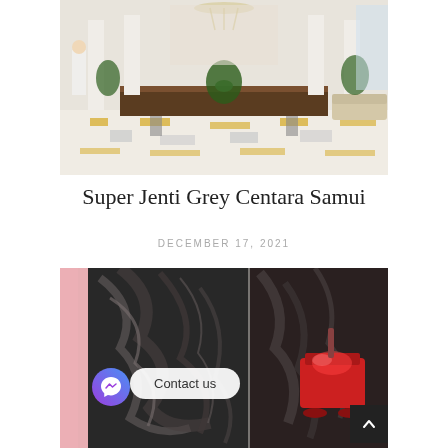[Figure (photo): Hotel lobby interior with large decorative table, tropical plants, white columns, patterned floor with yellow and grey geometric design, and seating area. A person is visible on the left side.]
Super Jenti Grey Centara Samui
DECEMBER 17, 2021
[Figure (photo): Close-up of dark swirling marble stone being polished or cut, split into two panels. Pink curtain visible on the left edge. A red industrial polishing machine visible on the right panel.]